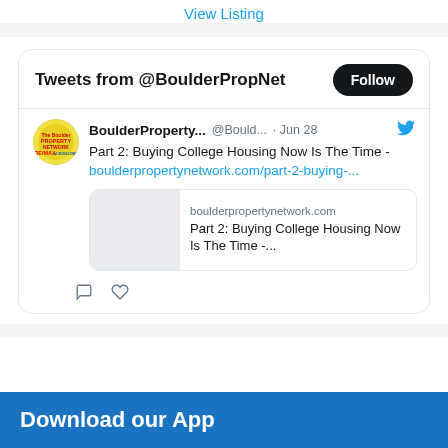View Listing
Tweets from @BoulderPropNet
BoulderProperty... @Bould... · Jun 28
Part 2: Buying College Housing Now Is The Time - boulderpropertynetwork.com/part-2-buying-...
boulderpropertynetwork.com
Part 2: Buying College Housing Now Is The Time -...
Download our App